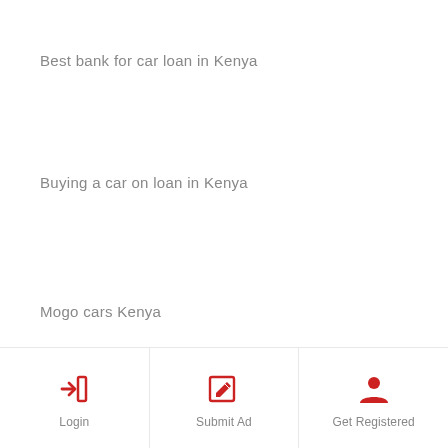Best bank for car loan in Kenya
Buying a car on loan in Kenya
Mogo cars Kenya
Loan cars for sale
Hire purchase sellers in Kenya
Hire purchase cars olx Kenya
Toyota Kenya hire purchase
Olx hire purchase cars
[Figure (infographic): Bottom navigation bar with three buttons: Login (arrow-into-bracket icon), Submit Ad (pencil/edit icon), Get Registered (person/user icon). All icons are red/crimson colored on white background.]